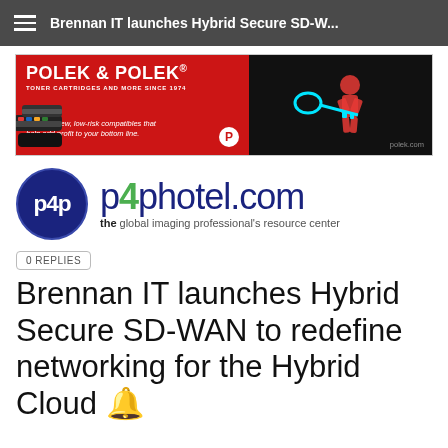Brennan IT launches Hybrid Secure SD-W...
[Figure (illustration): Polek & Polek advertisement banner for toner cartridges. Red and dark background with toner cartridges image on left side. Text: POLEK & POLEK® TONER CARTRIDGES AND MORE SINCE 1974. We offer new, low-risk compatibles that help add profit to your bottom line. polek.com]
[Figure (logo): p4photel.com logo — circular dark navy badge with p4p letters and the text p4photel.com with tagline: the global imaging professional's resource center]
0 REPLIES
Brennan IT launches Hybrid Secure SD-WAN to redefine networking for the Hybrid Cloud